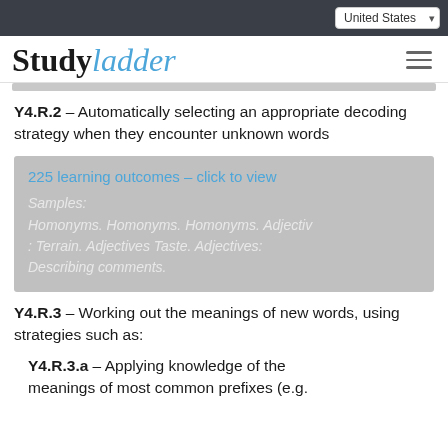United States
Studyladder
Y4.R.2 – Automatically selecting an appropriate decoding strategy when they encounter unknown words
225 learning outcomes – click to view
Samples:
Homonyms. Homonyms. Homonyms. Adjectives: Terrain. Adjectives Taste. Adjectives: Describing comments.
Y4.R.3 – Working out the meanings of new words, using strategies such as:
Y4.R.3.a – Applying knowledge of the meanings of most common prefixes (e.g...